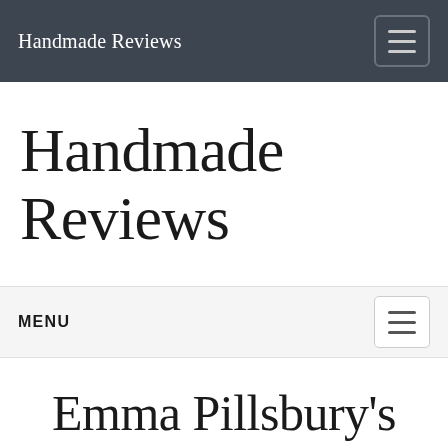Handmade Reviews
Handmade Reviews
MENU
Emma Pillsbury's Sweater Guards
deals · fashion